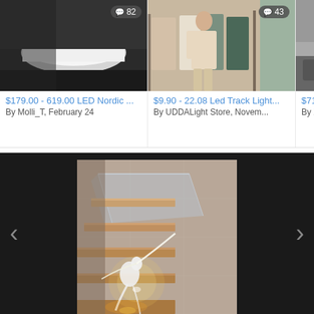[Figure (screenshot): Product listing card: bathroom with white freestanding tub, comment badge showing 82. Price: $179.00 - 619.00 LED Nordic ... By Molli_T, February 24]
$179.00 - 619.00 LED Nordic ...
By Molli_T, February 24
[Figure (screenshot): Product listing card: fashion/clothing store image, comment badge showing 43. Price: $9.90 - 22.08 Led Track Light... By UDDALight Store, Novem...]
$9.90 - 22.08 Led Track Light...
By UDDALight Store, Novem...
[Figure (screenshot): Partial product listing card (cropped). Price: $71.0... By Xr...]
$71.0
By Xr
[Figure (photo): Interior design photo of a modern staircase with floating wooden steps, glass railing, stone/tile wall, and a glowing sculptural figure lamp at the base. Dark background with left and right navigation arrows.]